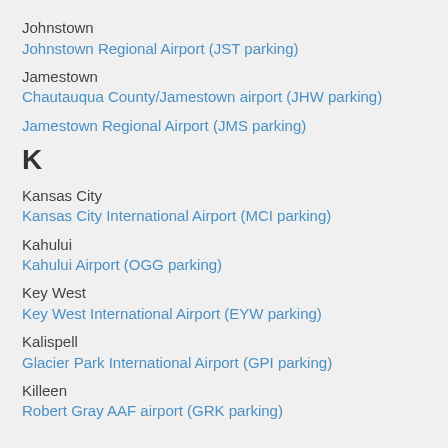Johnstown
Johnstown Regional Airport (JST parking)
Jamestown
Chautauqua County/Jamestown airport (JHW parking)
Jamestown Regional Airport (JMS parking)
K
Kansas City
Kansas City International Airport (MCI parking)
Kahului
Kahului Airport (OGG parking)
Key West
Key West International Airport (EYW parking)
Kalispell
Glacier Park International Airport (GPI parking)
Killeen
Robert Gray AAF airport (GRK parking)